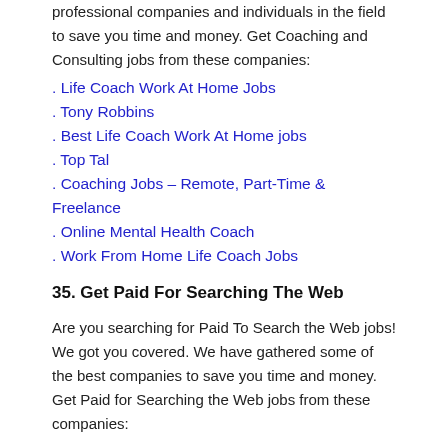professional companies and individuals in the field to save you time and money. Get Coaching and Consulting jobs from these companies:
Life Coach Work At Home Jobs
Tony Robbins
Best Life Coach Work At Home jobs
Top Tal
Coaching Jobs – Remote, Part-Time & Freelance
Online Mental Health Coach
Work From Home Life Coach Jobs
35. Get Paid For Searching The Web
Are you searching for Paid To Search the Web jobs! We got you covered. We have gathered some of the best companies to save you time and money. Get Paid for Searching the Web jobs from these companies:
Appen